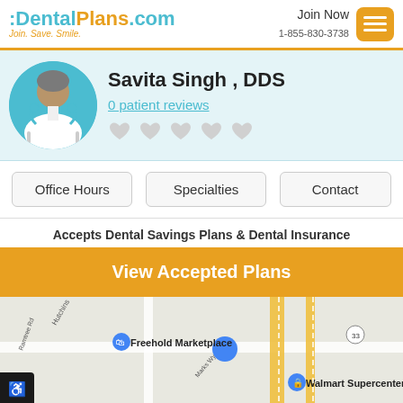[Figure (logo): DentalPlans.com logo with tagline Join. Save. Smile.]
Join Now
1-855-830-3738
[Figure (photo): Dentist avatar illustration in teal circle]
Savita Singh , DDS
0 patient reviews
[Figure (illustration): Five heart rating icons (empty/grey)]
Office Hours
Specialties
Contact
Accepts Dental Savings Plans & Dental Insurance
View Accepted Plans
[Figure (map): Google Maps showing Freehold Marketplace and Walmart Supercenter area]